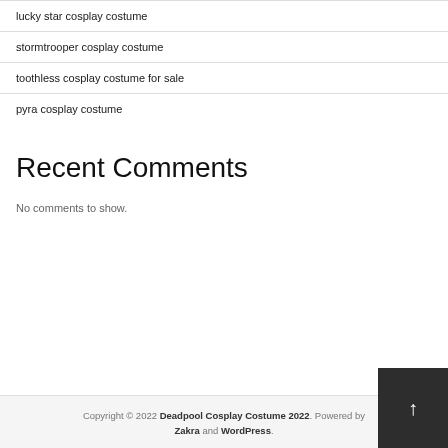lucky star cosplay costume
stormtrooper cosplay costume
toothless cosplay costume for sale
pyra cosplay costume
Recent Comments
No comments to show.
Copyright © 2022 Deadpool Cosplay Costume 2022. Powered by Zakra and WordPress.